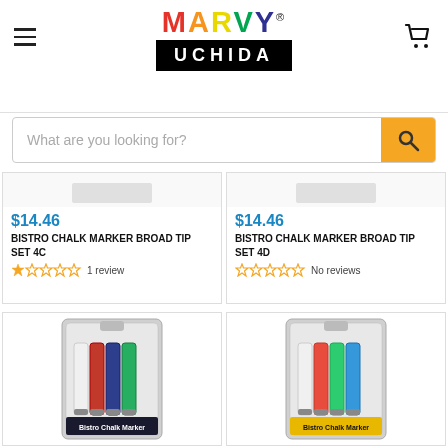[Figure (logo): Marvy Uchida logo with colorful MARVY text and black UCHIDA banner]
What are you looking for?
$14.46
BISTRO CHALK MARKER BROAD TIP SET 4C
1 review
$14.46
BISTRO CHALK MARKER BROAD TIP SET 4D
No reviews
[Figure (photo): Bistro Chalk Marker set with white, red, blue, green markers in packaging]
[Figure (photo): Bistro Chalk Marker set with white, orange/red, green, blue markers in packaging]